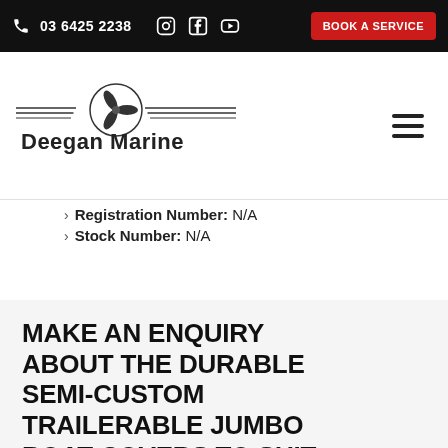03 6425 2238 | BOOK A SERVICE
[Figure (logo): Deegan Marine logo with propeller graphic and horizontal lines]
Registration Number: N/A
Stock Number: N/A
MAKE AN ENQUIRY ABOUT THE DURABLE SEMI-CUSTOM TRAILERABLE JUMBO BOAT COVERS TO SUIT BOATS 5.8-6.4 METRES